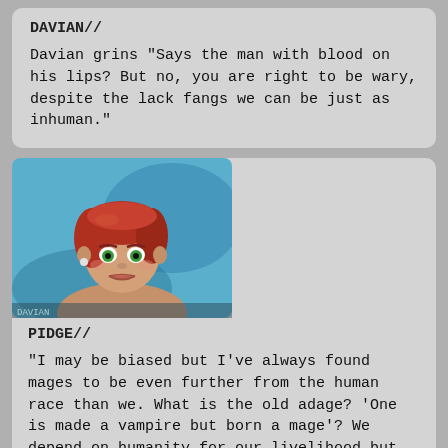DAVIAN//
Davian grins "Says the man with blood on his lips? But no, you are right to be wary, despite the lack fangs we can be just as inhuman."
[Figure (photo): Avatar image of a female character with red hair and green eyes against a blue background, from a video game (The Sims style)]
PIDGE//
"I may be biased but I've always found mages to be even further from the human race than we. What is the old adage? 'One is made a vampire but born a mage'? We depend on humanity for our livelihood but you and your